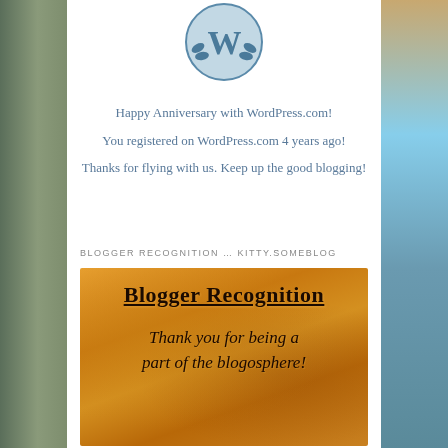[Figure (logo): WordPress logo — circular badge with 'W' letter and laurel/leaf decoration in blue tones]
Happy Anniversary with WordPress.com!
You registered on WordPress.com 4 years ago!
Thanks for flying with us. Keep up the good blogging!
BLOGGER RECOGNITION … KITTY.SOMEBLOG
[Figure (illustration): Blogger Recognition award image on aged parchment/golden-orange textured background. Title reads 'Blogger Recognition' in bold blackletter underlined font. Subtitle reads 'Thank you for being a part of the blogosphere!' in italic font.]